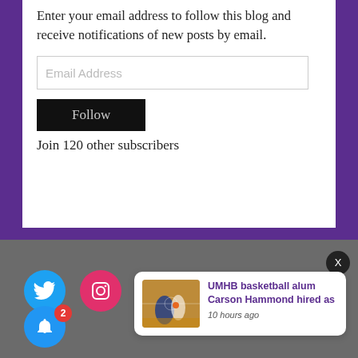Enter your email address to follow this blog and receive notifications of new posts by email.
Email Address
Follow
Join 120 other subscribers
[Figure (screenshot): Social media icons: Twitter (blue bird), Instagram (pink camera), notification bell (blue) with badge showing 2]
[Figure (screenshot): Notification card with basketball game image and text: UMHB basketball alum Carson Hammond hired as — 10 hours ago]